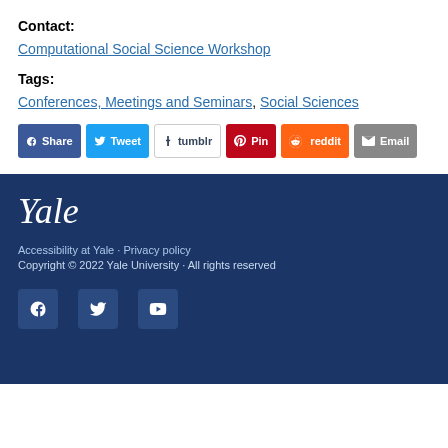Contact:
Computational Social Science Workshop
Tags:
Conferences, Meetings and Seminars, Social Sciences
[Figure (other): Social sharing buttons: Share (Facebook), Tweet (Twitter), tumblr, Pin (Pinterest), reddit, Email]
Yale | Accessibility at Yale · Privacy policy | Copyright © 2022 Yale University · All rights reserved | Facebook, Twitter, YouTube social icons